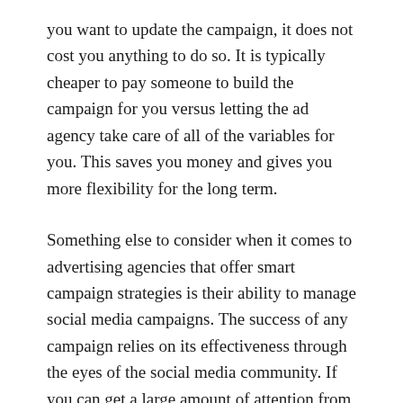you want to update the campaign, it does not cost you anything to do so. It is typically cheaper to pay someone to build the campaign for you versus letting the ad agency take care of all of the variables for you. This saves you money and gives you more flexibility for the long term.
Something else to consider when it comes to advertising agencies that offer smart campaign strategies is their ability to manage social media campaigns. The success of any campaign relies on its effectiveness through the eyes of the social media community. If you can get a large amount of attention from the social media community, then you are sure to succeed in your campaign. The key is for you to be able to manage the different avenues of communication to ensure that you get the most attention from your potential customers. You need to make sure that you keep in contact with your